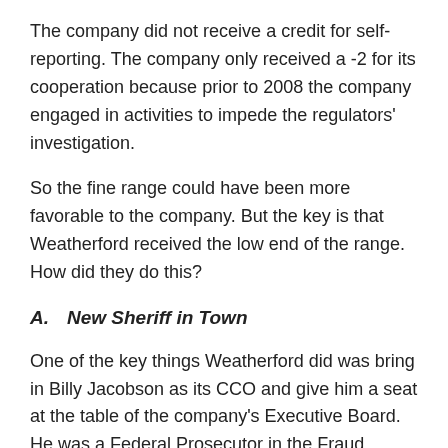The company did not receive a credit for self-reporting. The company only received a -2 for its cooperation because prior to 2008 the company engaged in activities to impede the regulators' investigation.
So the fine range could have been more favorable to the company. But the key is that Weatherford received the low end of the range. How did they do this?
A.    New Sheriff in Town
One of the key things Weatherford did was bring in Billy Jacobson as its CCO and give him a seat at the table of the company's Executive Board. He was a Federal Prosecutor in the Fraud Section, Criminal Division, US Department of Justice. He also served as an Assistant Chief for FCPA Enforcement Department so we can